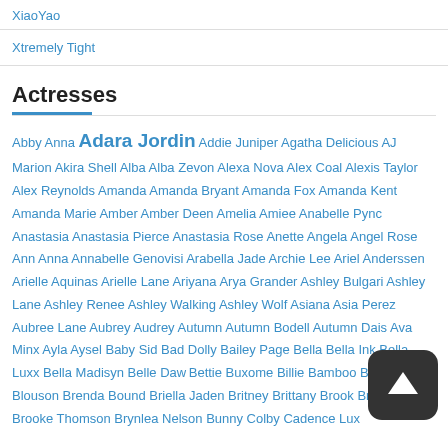XiaoYao
Xtremely Tight
Actresses
Abby Anna Adara Jordin Addie Juniper Agatha Delicious AJ Marion Akira Shell Alba Alba Zevon Alexa Nova Alex Coal Alexis Taylor Alex Reynolds Amanda Amanda Bryant Amanda Fox Amanda Kent Amanda Marie Amber Amber Deen Amelia Amiee Anabelle Pync Anastasia Anastasia Pierce Anastasia Rose Anette Angela Angel Rose Ann Anna Annabelle Genovisi Arabella Jade Archie Lee Ariel Anderssen Arielle Aquinas Arielle Lane Ariyana Arya Grander Ashley Bulgari Ashley Lane Ashley Renee Ashley Walking Ashley Wolf Asiana Asia Perez Aubree Lane Aubrey Audrey Autumn Autumn Bodell Autumn Dais Ava Minx Ayla Aysel Baby Sid Bad Dolly Bailey Page Bella Bella Ink Bella Luxx Bella Madisyn Belle Daw Bettie Buxome Billie Bamboo Blair Blouson Brenda Bound Briella Jaden Britney Brittany Brook Brooke Bliss Brooke Thomson Brynlea Nelson Bunny Colby Cadence Lux